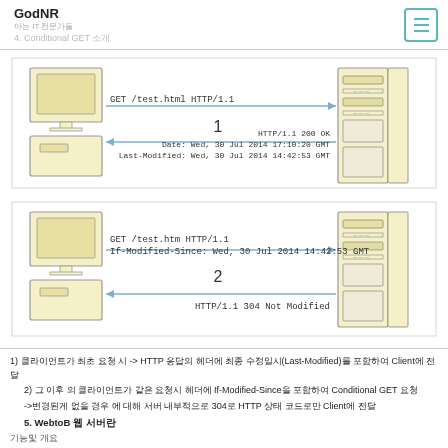GodNR
아는 IT 전문가들
4. Conditional GET 소개
[Figure (network-graph): Two diagrams showing HTTP Conditional GET flow. Top: Client sends GET /test.html HTTP/1.1, server responds HTTP/1.1 200 OK with Date, Last-Modified. Bottom: Client sends GET /test.htm HTTP/1.1 with If-Modified-Since, server responds HTTP/1.1 304 Not Modified.]
1) 클라이언트가 최초 요청 시 -> HTTP 응답의 헤더에 최종 수정일시(Last-Modified)를 포함하여 Client에 전달
2) 그 이후 의 클라이언트가 같은 요청시 헤더에 If-Modified-Since을 포함하여 Conditional GET 요청
->변경된게 없을 경우 에 대해 서버 내부적으로 304로 HTTP 상태 코드로만 Client에 전달
5. WebtoB 웹 서버란
기능및 개요